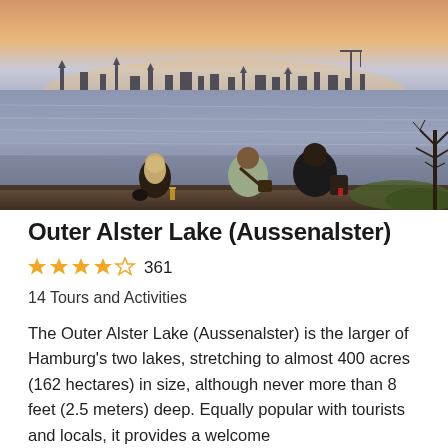[Figure (photo): Three people sitting with their backs to the camera overlooking the Outer Alster Lake (Aussenalster) in Hamburg. City skyline with church spires visible in the background across the lake. Taken in warm late-afternoon light.]
Outer Alster Lake (Aussenalster)
★★★★☆ 361
14 Tours and Activities
The Outer Alster Lake (Aussenalster) is the larger of Hamburg's two lakes, stretching to almost 400 acres (162 hectares) in size, although never more than 8 feet (2.5 meters) deep. Equally popular with tourists and locals, it provides a welcome